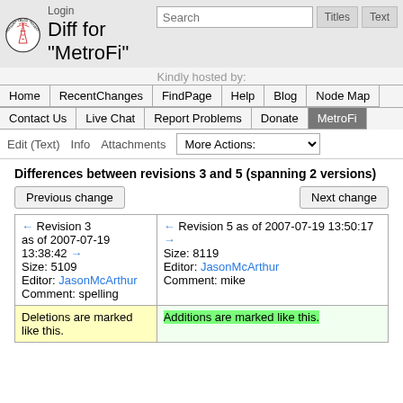Login
Diff for "MetroFi"
Kindly hosted by:
Home | RecentChanges | FindPage | Help | Blog | Node Map | Contact Us | Live Chat | Report Problems | Donate | MetroFi
Edit (Text)   Info   Attachments   More Actions:
Differences between revisions 3 and 5 (spanning 2 versions)
| Revision 3 | Revision 5 |
| --- | --- |
| ← Revision 3 as of 2007-07-19 13:38:42 →
Size: 5109
Editor: JasonMcArthur
Comment: spelling | ← Revision 5 as of 2007-07-19 13:50:17 →
Size: 8119
Editor: JasonMcArthur
Comment: mike |
| Deletions are marked like this. | Additions are marked like this. |